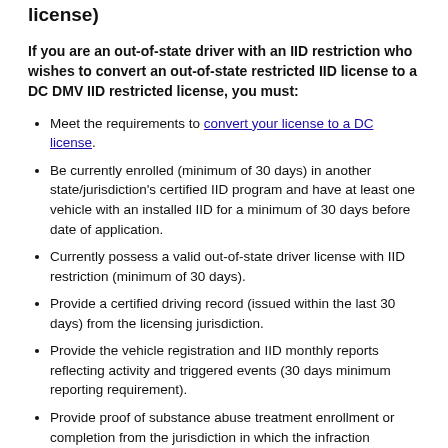license)
If you are an out-of-state driver with an IID restriction who wishes to convert an out-of-state restricted IID license to a DC DMV IID restricted license, you must:
Meet the requirements to convert your license to a DC license.
Be currently enrolled (minimum of 30 days) in another state/jurisdiction's certified IID program and have at least one vehicle with an installed IID for a minimum of 30 days before date of application.
Currently possess a valid out-of-state driver license with IID restriction (minimum of 30 days).
Provide a certified driving record (issued within the last 30 days) from the licensing jurisdiction.
Provide the vehicle registration and IID monthly reports reflecting activity and triggered events (30 days minimum reporting requirement).
Provide proof of substance abuse treatment enrollment or completion from the jurisdiction in which the infraction occurred.